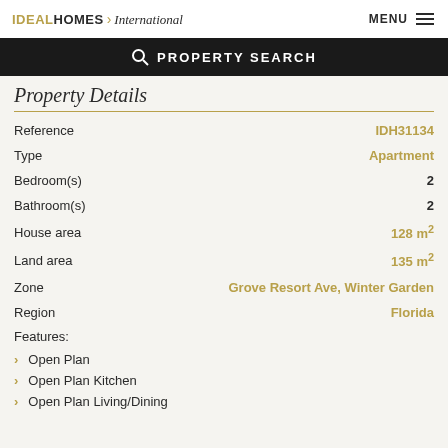IDEAL HOMES International   MENU
PROPERTY SEARCH
Property Details
| Field | Value |
| --- | --- |
| Reference | IDH31134 |
| Type | Apartment |
| Bedroom(s) | 2 |
| Bathroom(s) | 2 |
| House area | 128 m² |
| Land area | 135 m² |
| Zone | Grove Resort Ave, Winter Garden |
| Region | Florida |
Features:
Open Plan
Open Plan Kitchen
Open Plan Living/Dining